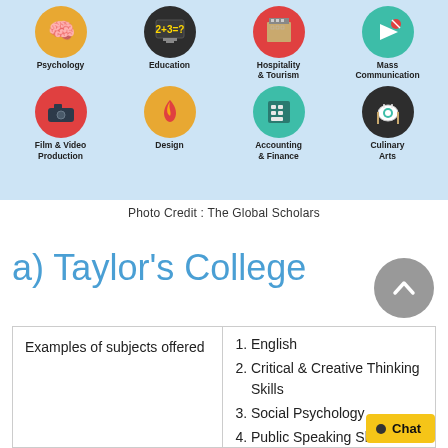[Figure (infographic): Grid of 8 circular icons on light blue background showing academic/vocational subjects: Psychology (brain icon, gold), Education (chalkboard icon, dark), Hospitality & Tourism (hotel icon, red), Mass Communication (megaphone icon, teal), Film & Video Production (camera icon, red), Design (flame/hand icon, gold), Accounting & Finance (calculator icon, teal), Culinary Arts (plate/cutlery icon, dark)]
Photo Credit : The Global Scholars
a) Taylor's College
| Examples of subjects offered |  |
| --- | --- |
|  | 1. English
2. Critical & Creative Thinking Skills
3. Social Psychology
4. Public Speaking Sk... |